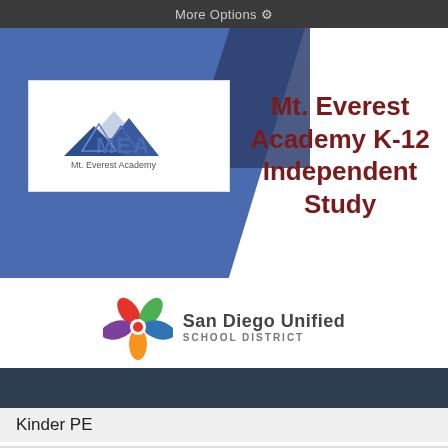More Options ⚙
[Figure (logo): Mt. Everest Academy logo with mountain graphic and 'MEA' text on white background inside blue banner]
Mt. Everest Academy K-12 Independent Study
[Figure (logo): San Diego Unified School District logo - colorful flower/star shape with text 'San Diego Unified SCHOOL DISTRICT']
Kinder PE